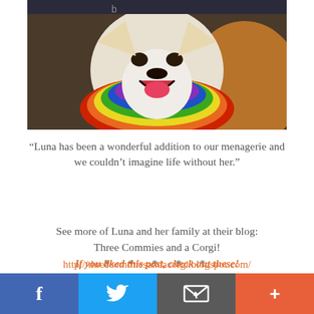[Figure (photo): A Corgi dog wearing a colorful rainbow-feathered collar/ruff, mouth open, photographed indoors.]
“Luna has been a wonderful addition to our menagerie and we couldn’t imagine life without her.”
See more of Luna and her family at their blog: Three Commies and a Corgi!
http://threecommiesandacorgi.blogspot.com/
* * * * *
Welcome to The Daily Corgi, Luna!
You are as cute as cupcakes!
If you liked this post, check out these!
f  [Twitter bird]  [Email icon]  +